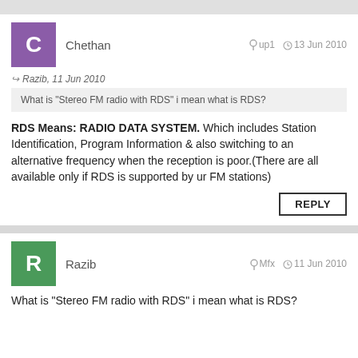Chethan   up1   13 Jun 2010
Razib, 11 Jun 2010
What is "Stereo FM radio with RDS" i mean what is RDS?
RDS Means: RADIO DATA SYSTEM. Which includes Station Identification, Program Information & also switching to an alternative frequency when the reception is poor.(There are all available only if RDS is supported by ur FM stations)
REPLY
Razib   Mfx   11 Jun 2010
What is "Stereo FM radio with RDS" i mean what is RDS?